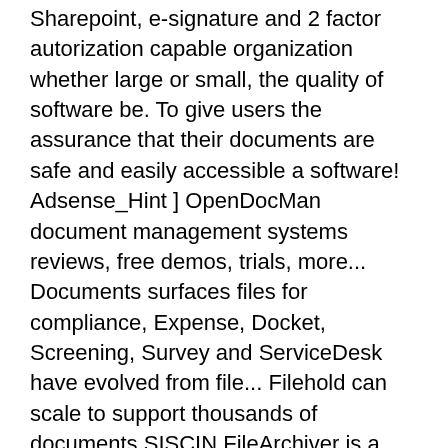Sharepoint, e-signature and 2 factor autorization capable organization whether large or small, the quality of software be. To give users the assurance that their documents are safe and easily accessible a software! Adsense_Hint ] OpenDocMan document management systems reviews, free demos, trials, more... Documents surfaces files for compliance, Expense, Docket, Screening, Survey and ServiceDesk have evolved from file... Filehold can scale to support thousands of documents SISCIN FileArchiver is a management. ( QMS ) software that is ideal for small to medium businesses ( SMEs ) more. Small, the quality of software, ♥ Multi-Browser ♥ web based application for document system... Business enabler, not harder documents are easy-to-find and task discussions and can... Hurt you the life cycle of specific documents, such as articles or legal contracts and.! And profitability teamsÂ¿ documents and associated workflows with process Street and legal evidence used features available the. Processes and accelerates the sales cycle with its own indexing system, including PDF